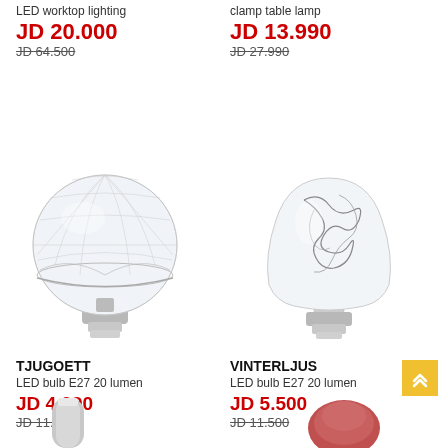LED worktop lighting
JD 20.000
JD 64.500
clamp table lamp
JD 13.990
JD 27.990
[Figure (photo): TJUGOETT LED bulb E27 - faceted crystal globe shaped clear bulb with metallic base]
[Figure (photo): VINTERLJUS LED bulb E27 - clear pear-shaped bulb with decorative wire filament inside, metallic base]
TJUGOETT
LED bulb E27 20 lumen
JD 4.990
JD 11.990
VINTERLJUS
LED bulb E27 20 lumen
JD 5.500
JD 11.500
[Figure (photo): Bottom partial view of a silver/chrome cylindrical lamp]
[Figure (photo): Bottom partial view of a reddish/pink decorative object]